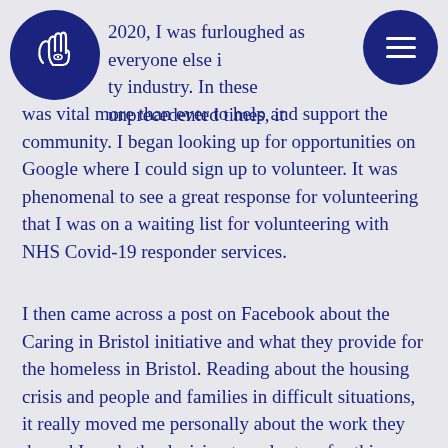[Figure (logo): Dark navy blue circular logo with a white hand/caring symbol outline]
[Figure (other): Dark navy blue circular menu button with three horizontal white lines (hamburger menu icon)]
2020, I was furloughed as everyone else in the hospitality industry. In these unprecedented times, it was vital more than ever to help and support the community. I began looking up for opportunities on Google where I could sign up to volunteer. It was phenomenal to see a great response for volunteering that I was on a waiting list for volunteering with NHS Covid-19 responder services.
I then came across a post on Facebook about the Caring in Bristol initiative and what they provide for the homeless in Bristol. Reading about the housing crisis and people and families in difficult situations, it really moved me personally about the work they do and I made the decision to volunteer for this charity